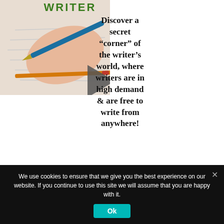WRITER
[Figure (illustration): Illustration of a hand holding a pencil, writing. Background shows paper/notebook. A dark grey right-pointing arrow/triangle is overlaid. A small orange/red pencil is also visible.]
Discover a secret “corner” of the writer’s world, where writers are in high demand & are free to write from anywhere!
[Figure (other): Green rounded rectangular call-to-action button (partially visible)]
We use cookies to ensure that we give you the best experience on our website. If you continue to use this site we will assume that you are happy with it.
[Figure (other): Teal/cyan 'Ok' button in cookie consent banner]